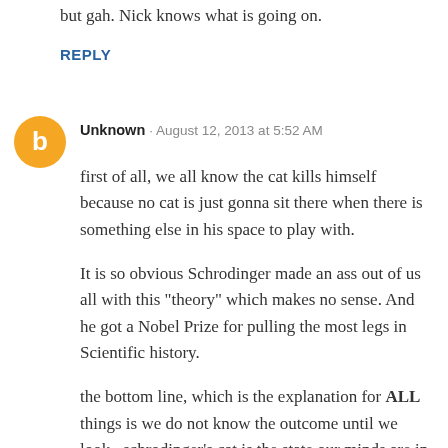but gah. Nick knows what is going on.
REPLY
Unknown · August 12, 2013 at 5:52 AM
first of all, we all know the cat kills himself because no cat is just gonna sit there when there is something else in his space to play with.
It is so obvious Schrodinger made an ass out of us all with this "theory" which makes no sense. And he got a Nobel Prize for pulling the most legs in Scientific history.
the bottom line, which is the explanation for ALL things is we do not know the outcome until we look.  schrodinger's cat is the state our minds are in. what WE are thinking.
It is so obvious, it is confusing because no